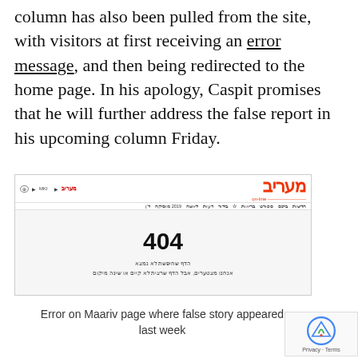column has also been pulled from the site, with visitors at first receiving an error message, and then being redirected to the home page. In his apology, Caspit promises that he will further address the false report in his upcoming column Friday.
[Figure (screenshot): Screenshot of Maariv website (maariv.co.il) showing a 404 error page with Hebrew text, the Maariv logo in red on the right, navigation bar in Hebrew, and 404 error message in large black font with Hebrew error text below.]
Error on Maariv page where false story appeared last week
Maariv also published a news story about the falsehood that Presspectiva exposed, as did